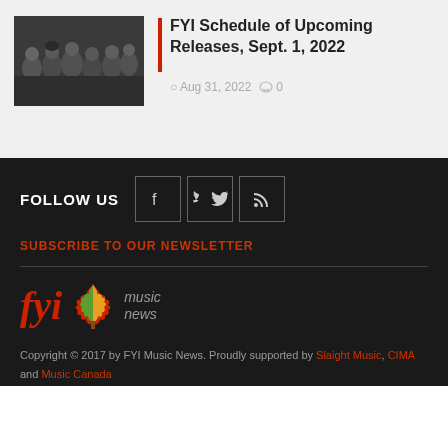[Figure (photo): Group photo of a band/musicians, several people in dark clothing posed together]
FYI Schedule of Upcoming Releases, Sept. 1, 2022
Aug 31, 2022  0
FOLLOW US
[Figure (other): Social media icons: Facebook, Twitter, RSS feed in bordered boxes]
SUBSCRIBE TO OUR NEWSLETTER
[Figure (logo): FYI Music News logo with red italic 'fyi' text, maple leaf graphic in red/orange/green, and 'music news' text in gray]
Copyright © 2017 by FYI Music News. Proudly supported by Slaight Music, CIMA and Music Canada